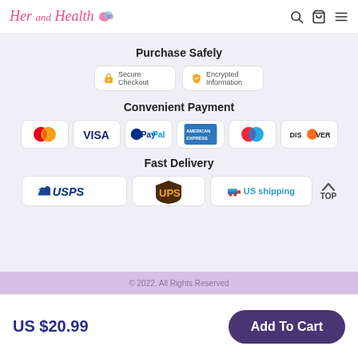Her and Health [logo] [search] [cart] [menu]
Purchase Safely
[Figure (infographic): Two security badges: 'Secure Checkout' with orange padlock icon and 'Encrypted Information' with orange shield icon]
Convenient Payment
[Figure (infographic): Six payment method logos: Mastercard, VISA, PayPal, American Express, Mastercard (variant), DISCOVER]
Fast Delivery
[Figure (infographic): Three delivery logos: USPS, UPS, US shipping (with truck icon)]
© 2022. All Rights Reserved
US $20.99
Add To Cart